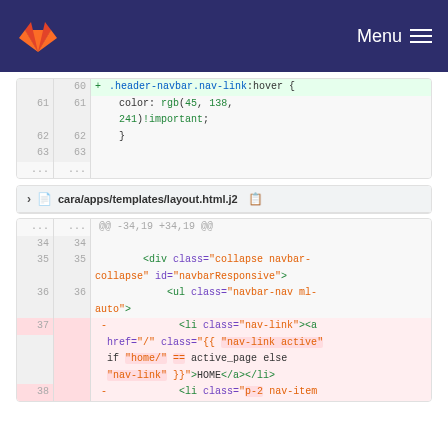[Figure (screenshot): GitLab navigation bar with logo and hamburger menu]
Code diff block 1 (CSS file): lines 60-63 showing .header-navbar.nav-link:hover { color: rgb(45, 138, 241)!important; }
cara/apps/templates/layout.html.j2
Code diff block 2 (HTML template): lines 34-38 showing div collapse navbar-collapse, ul navbar-nav ml-auto, li nav-link removed lines